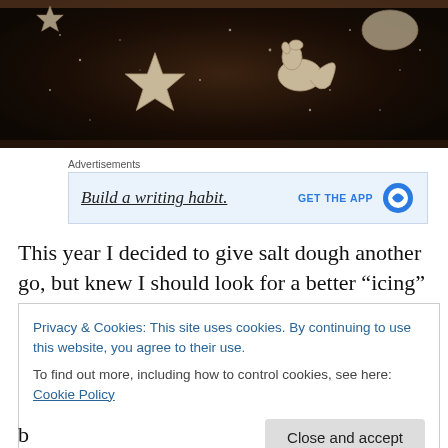[Figure (photo): Overhead view of shaped salt dough cookies (star and squirrel shapes) dusted with glitter/sugar on a dark baking tray]
Advertisements
[Figure (screenshot): Advertisement banner: 'Build a writing habit.' with 'GET THE APP' call to action and WordPress logo icon]
This year I decided to give salt dough another go, but knew I should look for a better “icing” solution. I wanted to
Privacy & Cookies: This site uses cookies. By continuing to use this website, you agree to their use.
To find out more, including how to control cookies, see here: Cookie Policy
Close and accept
b...d...d...d...d...d...d...d...d...d...d...d